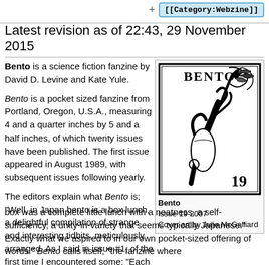+ [[Category:Webzine]]
Latest revision as of 22:43, 29 November 2015
Bento is a science fiction fanzine by David D. Levine and Kate Yule.
Bento is a pocket sized fanzine from Portland, Oregon, U.S.A., measuring 4 and a quarter inches by 5 and a half inches, of which twenty issues have been published. The first issue appeared in August 1989, with subsequent issues following yearly.
The editors explain what Bento is; "Well, in Japan bento is a box lunch, a delightful compilation of strange and interesting tidbits, meticulously arranged. As I said in issue #1, of the first time I encountered some: "Each box was a complete little lunch with a neatness, a self-sufficiency, a unity-in-variety that seems typically Japanese." Exactly what we aspired to in our own pocket-sized offering of words." Bento calls itself, "the fanzine where
[Figure (illustration): Cover of Bento Issue 19, 2007. Black and white illustration showing a hand holding what appears to be a quill or feather with the word BENTO at the top. The number 19 appears in the bottom right corner.]
Bento
Issue 19 2007
Cover art by Julie McGalliard